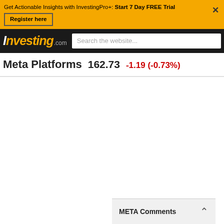Get Actionable Insights with InvestingPro+: Start 7 Day FREE Trial
Register here
[Figure (screenshot): Investing.com logo with search bar on dark navbar]
Meta Platforms  162.73  -1.19 (-0.73%)
META Comments